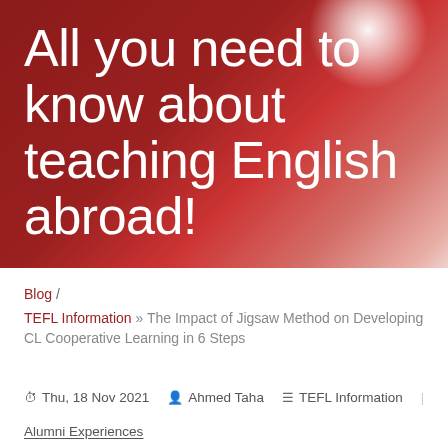[Figure (illustration): Dark red hero banner with white radial glow in upper right corner and large white title text]
All you need to know about teaching English abroad!
Blog / TEFL Information » The Impact of Jigsaw Method on Developing CL Cooperative Learning in 6 Steps
Thu, 18 Nov 2021  Ahmed Taha  TEFL Information | Alumni Experiences